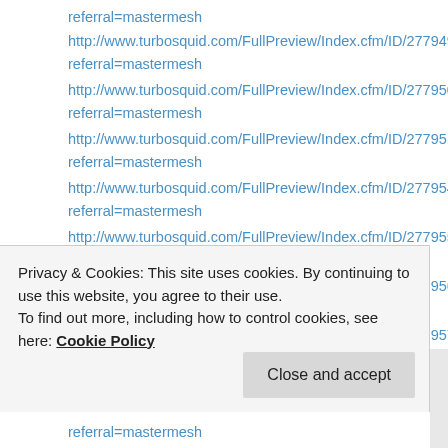referral=mastermesh
http://www.turbosquid.com/FullPreview/Index.cfm/ID/277949scrapes referral=mastermesh
http://www.turbosquid.com/FullPreview/Index.cfm/ID/277950scrapes referral=mastermesh
http://www.turbosquid.com/FullPreview/Index.cfm/ID/277951scrapes referral=mastermesh
http://www.turbosquid.com/FullPreview/Index.cfm/ID/277954scrapes referral=mastermesh
http://www.turbosquid.com/FullPreview/Index.cfm/ID/277955scrapes referral=mastermesh
http://www.turbosquid.com/FullPreview/Index.cfm/ID/277956scrapes referral=mastermesh
http://www.turbosquid.com/FullPreview/Index.cfm/ID/277957scrapes referral=mastermesh
Privacy & Cookies: This site uses cookies. By continuing to use this website, you agree to their use.
To find out more, including how to control cookies, see here: Cookie Policy